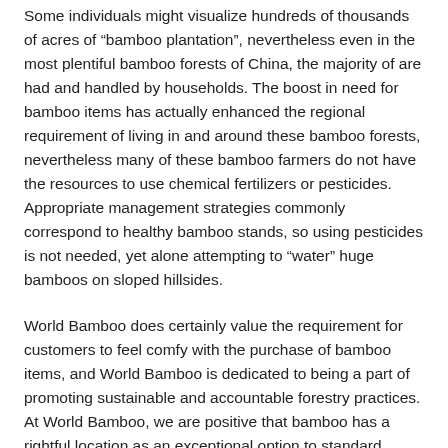Some individuals might visualize hundreds of thousands of acres of “bamboo plantation”, nevertheless even in the most plentiful bamboo forests of China, the majority of are had and handled by households. The boost in need for bamboo items has actually enhanced the regional requirement of living in and around these bamboo forests, nevertheless many of these bamboo farmers do not have the resources to use chemical fertilizers or pesticides. Appropriate management strategies commonly correspond to healthy bamboo stands, so using pesticides is not needed, yet alone attempting to “water” huge bamboos on sloped hillsides.
World Bamboo does certainly value the requirement for customers to feel comfy with the purchase of bamboo items, and World Bamboo is dedicated to being a part of promoting sustainable and accountable forestry practices. At World Bamboo, we are positive that bamboo has a rightful location as an exceptional option to standard lumber and fiber sources.